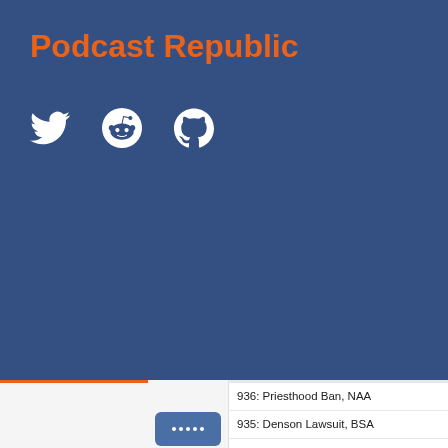Podcast Republic
[Figure (illustration): Social media icons: Twitter bird, Reddit alien, GitHub octocat — white icons on blue background]
936: Priesthood Ban, NAA
935: Denson Lawsuit, BSA